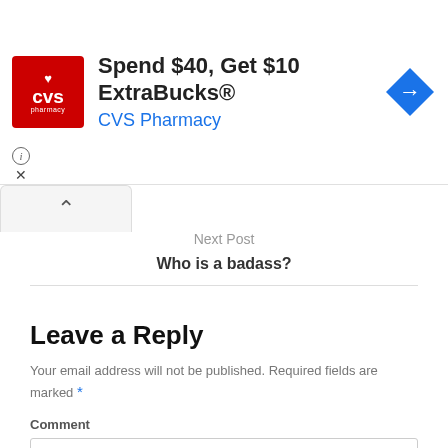[Figure (other): CVS Pharmacy advertisement banner: CVS logo (red square with heart and CVS pharmacy text), headline 'Spend $40, Get $10 ExtraBucks®', 'CVS Pharmacy' in blue, blue diamond arrow icon, info (i) and X close icons]
Next Post
Who is a badass?
Leave a Reply
Your email address will not be published. Required fields are marked *
Comment